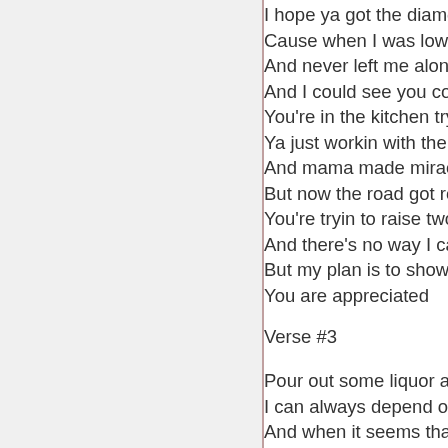I hope ya got the diamon...
Cause when I was low yo...
And never left me alone b...
And I could see you comin...
You're in the kitchen tryin...
Ya just workin with the sc...
And mama made miracles...
But now the road got roug...
You're tryin to raise two b...
And there's no way I can p...
But my plan is to show yo...
You are appreciated
Verse #3
Pour out some liquor and...
I can always depend on m...
And when it seems that I'r...
You say the words that ca...
When I was sick as a little...
To keep me happy there's...
And all my childhood mem...
Are full of all the sweet th...
And even though I act cra...
I gotta thank the Lord that...
There are no words that...